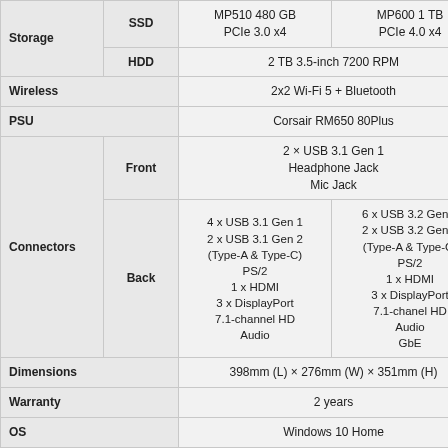|  |  | Config 1 | Config 2 |
| --- | --- | --- | --- |
| Storage | SSD | MP510 480 GB
PCIe 3.0 x4 | MP600 1 TB
PCIe 4.0 x4 |
| Storage | HDD | 2 TB 3.5-inch 7200 RPM | 2 TB 3.5-inch 7200 RPM |
| Wireless |  | 2x2 Wi-Fi 5 + Bluetooth | 2x2 Wi-Fi 5 + Bluetooth |
| PSU |  | Corsair RM650 80Plus | Corsair RM650 80Plus |
| Connectors | Front | 2 × USB 3.1 Gen 1
Headphone Jack
Mic Jack | 2 × USB 3.1 Gen 1
Headphone Jack
Mic Jack |
| Connectors | Back | 4 x USB 3.1 Gen 1
2 x USB 3.1 Gen 2
(Type-A & Type-C)
PS/2
1 x HDMI
3 x DisplayPort
7.1-channel HD
Audio | 6 x USB 3.2 Gen 1
2 x USB 3.2 Gen 2
(Type-A & Type-C)
PS/2
1 x HDMI
3 x DisplayPort
7.1-chanel HD
Audio
GbE |
| Dimensions |  | 398mm (L) × 276mm (W) × 351mm (H) | 398mm (L) × 276mm (W) × 351mm (H) |
| Warranty |  | 2 years | 2 years |
| OS |  | Windows 10 Home | Windows 10 Home |